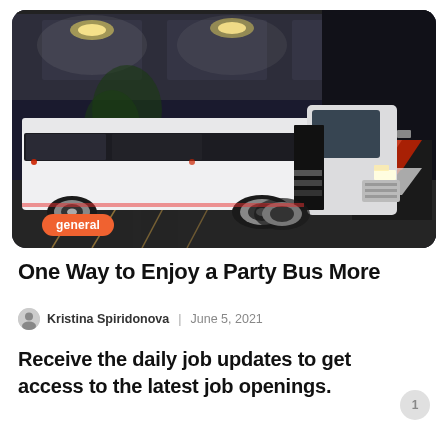[Figure (photo): A large white party bus parked in a covered parking area or terminal at night, with bright ceiling lights illuminating the scene. The bus has a long white body, dark tinted windows, an open side door with steps, and dual rear wheels. Red and white chevron hazard barriers are visible in the background on the right side. Yellow parking lines are visible on the dark pavement.]
general
One Way to Enjoy a Party Bus More
Kristina Spiridonova | June 5, 2021
Receive the daily job updates to get access to the latest job openings.